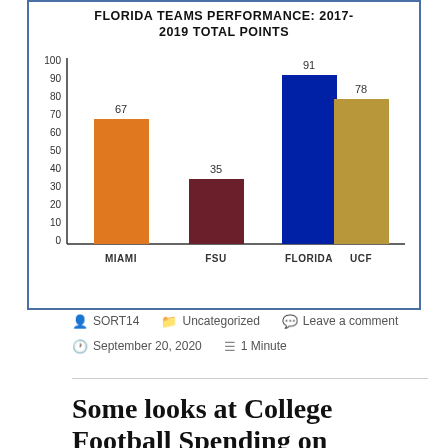[Figure (bar-chart): Florida Teams Performance: 2017-2019 Total Points]
SORT14   Uncategorized   Leave a comment   September 20, 2020   1 Minute
Some looks at College Football Spending on